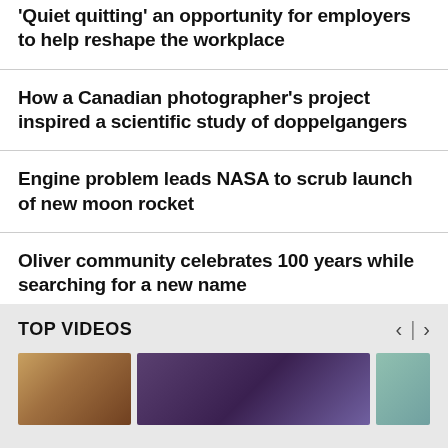'Quiet quitting' an opportunity for employers to help reshape the workplace
How a Canadian photographer's project inspired a scientific study of doppelgangers
Engine problem leads NASA to scrub launch of new moon rocket
Oliver community celebrates 100 years while searching for a new name
TOP VIDEOS